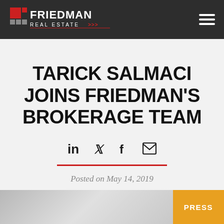Friedman Real Estate
TARICK SALMACI JOINS FRIEDMAN'S BROKERAGE TEAM
Posted on May 14, 2019
[Figure (photo): Bottom image strip with blurred background and orange PRESS badge]